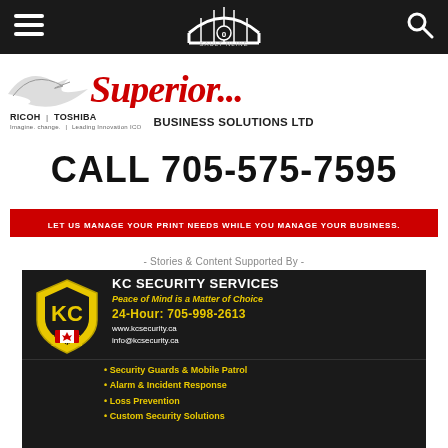SaultOnline navigation bar
[Figure (advertisement): Superior Business Solutions Ltd advertisement featuring Ricoh and Toshiba logos, phone number CALL 705-575-7595, and CTA text]
- Stories & Content Supported By -
[Figure (advertisement): KC Security Services advertisement with logo, tagline Peace of Mind is a Matter of Choice, 24-Hour: 705-998-2613, www.kcsecurity.ca, info@kcsecurity.ca, services: Security Guards & Mobile Patrol, Alarm & Incident Response, Loss Prevention, Custom Security Solutions]